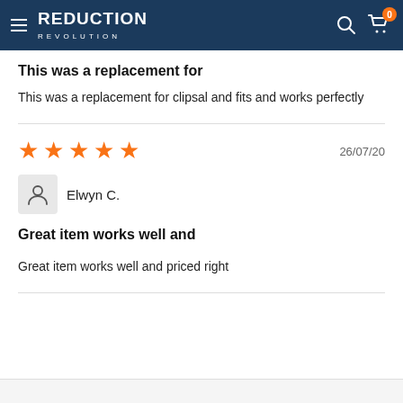REDUCTION REVOLUTION
This was a replacement for
This was a replacement for clipsal and fits and works perfectly
[Figure (other): Five orange star rating icons]
26/07/20
Elwyn C.
Great item works well and
Great item works well and priced right